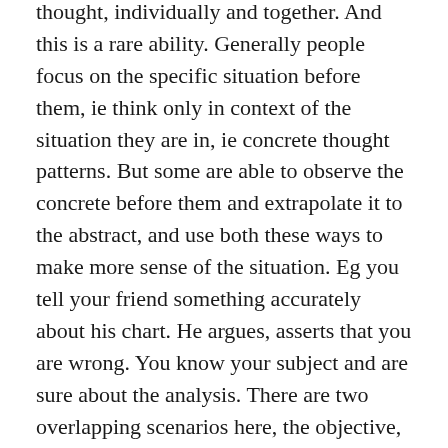thought, individually and together. And this is a rare ability. Generally people focus on the specific situation before them, ie think only in context of the situation they are in, ie concrete thought patterns. But some are able to observe the concrete before them and extrapolate it to the abstract, and use both these ways to make more sense of the situation. Eg you tell your friend something accurately about his chart. He argues, asserts that you are wrong. You know your subject and are sure about the analysis. There are two overlapping scenarios here, the objective, ie the current argument, the actual question that is being discussed. And the subjective, you now use this event to revalue your friend's personality. You analyse his reaction, his behaviour and revaluate his personality and fundamentally change your perception about him forever. Both these thought patterns always go on